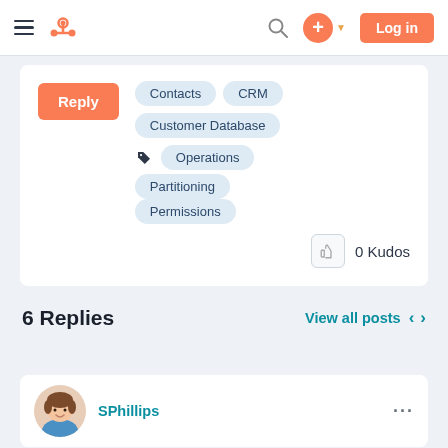HubSpot community navigation bar with hamburger menu, logo, search, plus button, and Log in button
[Figure (screenshot): Reply button (orange) and topic tags: Contacts, CRM, Customer Database, Operations, Partitioning, Permissions with a tag icon]
0 Kudos
6 Replies
View all posts
SPhillips